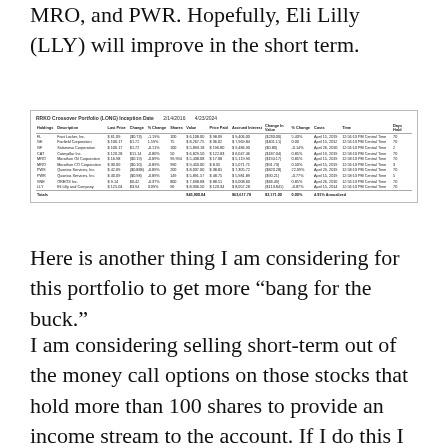MRO, and PWR.  Hopefully, Eli Lilly (LLY) will improve in the short term.
| Holdings | Description | Last Price | Change | % Change | Shares | Value | Price Paid | Accrued Interest | Change In Value | % Change | Costs | Time | Days Hold |
| --- | --- | --- | --- | --- | --- | --- | --- | --- | --- | --- | --- | --- | --- |
| FL | Foot Locker, Inc. | $61.09 | ($0.73) | -1.19% | 100 | $6,108.00 | $98.09 | $9,406.00 | ($230.00) | 5.43% | April 15, 2019 | 12:56:13 PM Central Time | 70 |
| GE | Fairfield Corporation | $100.17 | $1.72 | 1.59% | 75 | $8,267.75 | $36.02 | $7,969.84 | ($401.11) | 0.00 | April 15, 2012 | 12:56:13 PM Central Time | 70 |
| GF | Salamesa Corporation | $100.17 | $1.72 | -0.11% | 100 | $5,893.18 | $196.80 | $9,486.90 | ($0.80) | -0.14% | April 26, 2010 | 12:56:13 PM Central Time | 2 |
| CAT | Caterpillar Inc. | $120.28 | $11.14 | -0.80% | 50 | $6,829.50 | $122.83 | $6,047.46 | ($187.04) | 0.85% | April 19, 2019 | 12:58:13 PM Central Time | 70 |
| MRO | Marathon Oil Corporation | $16.98 | ($0.19) | -0.89% | 99,994 | $5,438.08 | $17.08 | $5,119.90 | ($194.17) | 0.85% | April 15, 2019 | 12:58:13 PM Central Time | 70 |
| MRO | Marathon CO Corporation | $30.00 | ($0.10) | -0.89% | 990 | $9,450.00 | $8.35 | $5,071.75 | ($91.73) | 0.50% | April 15, 2019 | 12:56:13 PM Central Time | 3 |
| PWS | Quantos Services, Inc. | $42.09 | ($0.888) | -0.89% | 200 | $8,037.00 | $38.81 | $7,305.72 | ($820.28) | 22.09% | April 29, 2019 | 12:58:13 PM Central Time | 70 |
| PWR | Quantos Services, Inc. | $40.09 | ($0.98) | -0.89% | 149 | $5,891.57 | $48.75 | $5,981.89 | ($90.21) | -0.77% | April 15, 2019 | 12:58:13 PM Central Time | 5 |
| SNE | OREOS Inc. | $9.14 | $0.42 | -0.37% | 800 | $7,698.08 | $88.51 | $6,008.60 | ($83.49) | 0.85% | April 26, 2010 | 12:56:13 PM Central Time | 70 |
| LLY | Eli Lilly and Company | $125.04 | $3.94 | 3.09% | 90 | $8,006.50 | $120.34 | $8,057.28 | ($113.841) | -0.87% | April 15, 2014 | 12:56:13 PM Central Time | 70 |
Here is another thing I am considering for this portfolio to get more “bang for the buck.”
I am considering selling short-term out of the money call options on those stocks that hold more than 100 shares to provide an income stream to the account.  If I do this I will track that income to show you what is available and